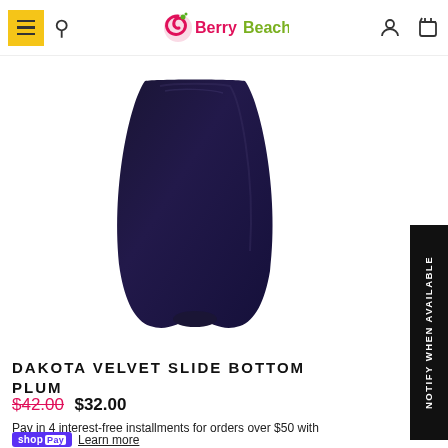Berry Beachy — navigation header with menu, search, logo, account, and cart icons
[Figure (photo): Dark navy/plum colored bikini bottom (Dakota Velvet Slide Bottom) photographed on white background, showing triangular fabric shape]
DAKOTA VELVET SLIDE BOTTOM PLUM
$42.00 $32.00
Pay in 4 interest-free installments for orders over $50 with shopPay Learn more
COLOR: PLUM